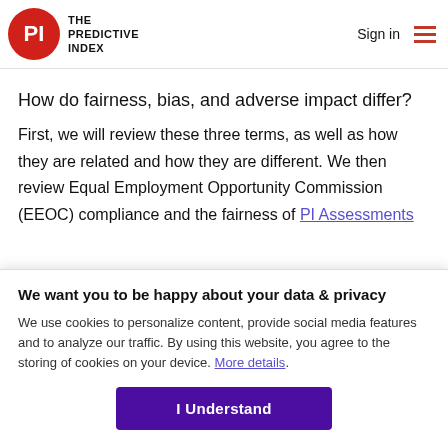[Figure (logo): The Predictive Index logo: red circle with white 'PI' letters and 'THE PREDICTIVE INDEX' text to the right]
Sign in
How do fairness, bias, and adverse impact differ?
First, we will review these three terms, as well as how they are related and how they are different. We then review Equal Employment Opportunity Commission (EEOC) compliance and the fairness of PI Assessments
We want you to be happy about your data & privacy
We use cookies to personalize content, provide social media features and to analyze our traffic. By using this website, you agree to the storing of cookies on your device. More details.
I Understand